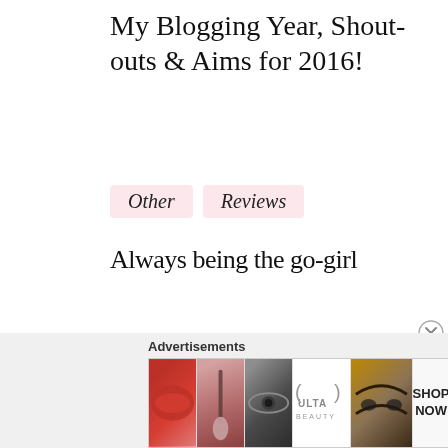My Blogging Year, Shout-outs & Aims for 2016!
Other
Reviews
Always being the go-girl
Advertisements
[Figure (other): Advertisement banner showing beauty product images including lips, makeup brush, eye, Ulta Beauty logo, eyebrows close-up, and a Shop Now panel]